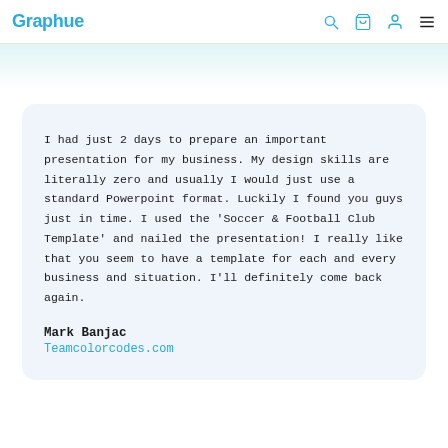Graphue
I had just 2 days to prepare an important presentation for my business. My design skills are literally zero and usually I would just use a standard Powerpoint format. Luckily I found you guys just in time. I used the 'Soccer & Football Club Template' and nailed the presentation! I really like that you seem to have a template for each and every business and situation. I'll definitely come back again.
Mark Banjac
Teamcolorcodes.com